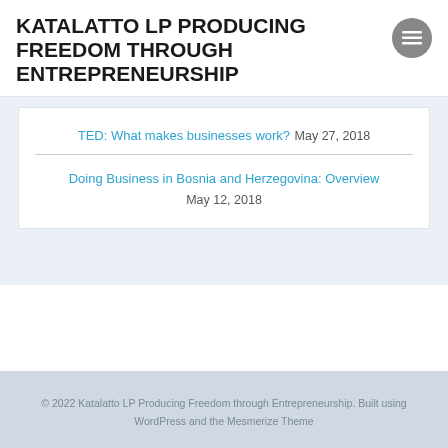KATALATTO LP PRODUCING FREEDOM THROUGH ENTREPRENEURSHIP
TED: What makes businesses work? May 27, 2018
Doing Business in Bosnia and Herzegovina: Overview May 12, 2018
© 2022 Katalatto LP Producing Freedom through Entrepreneurship. Built using WordPress and the Mesmerize Theme